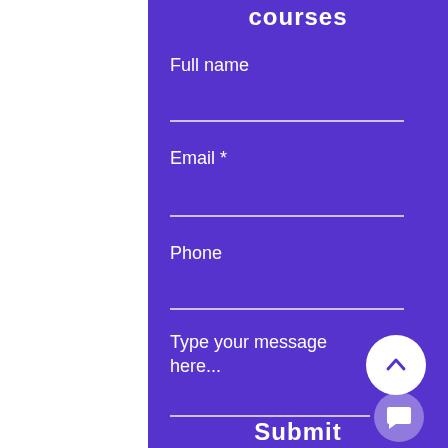courses
Full name
Email *
Phone
Type your message here...
Submit